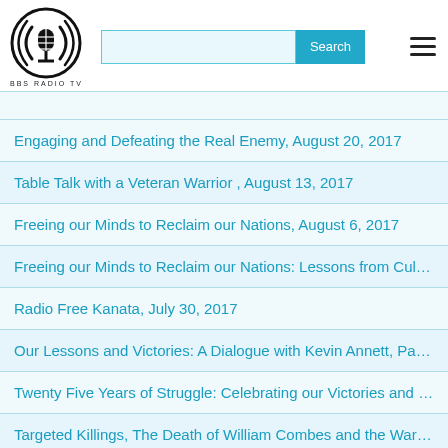BBS RADIO TV
Engaging and Defeating the Real Enemy, August 20, 2017
Table Talk with a Veteran Warrior , August 13, 2017
Freeing our Minds to Reclaim our Nations, August 6, 2017
Freeing our Minds to Reclaim our Nations: Lessons from Cult Ritual Surv…
Radio Free Kanata, July 30, 2017
Our Lessons and Victories: A Dialogue with Kevin Annett, Part Two, July…
Twenty Five Years of Struggle: Celebrating our Victories and Lessons, J…
Targeted Killings, The Death of William Combes and the War on Humani…
Investigation of a Murder City: London, Ontario, June 18, 2017